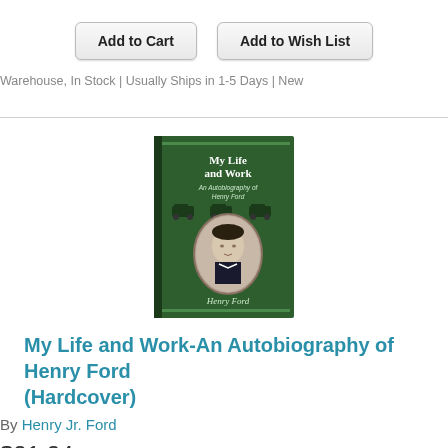Add to Cart   Add to Wish List
Warehouse, In Stock | Usually Ships in 1-5 Days | New
[Figure (illustration): Green hardcover book titled 'My Life and Work - An Autobiography of Henry Ford' with a portrait of Henry Ford in the center]
My Life and Work-An Autobiography of Henry Ford (Hardcover)
By Henry Jr. Ford
$21.24
Add to Cart   Add to Wish List
Warehouse, In Stock | Usually Ships in 1-5 Days | New
[Figure (illustration): Blue book cover titled 'BIBLE DE L'INVESTISSEMENT DANS LA CRYPTO-MONNAIE']